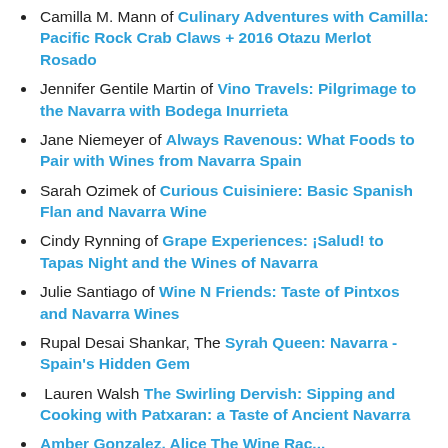Camilla M. Mann of Culinary Adventures with Camilla: Pacific Rock Crab Claws + 2016 Otazu Merlot Rosado
Jennifer Gentile Martin of Vino Travels: Pilgrimage to the Navarra with Bodega Inurrieta
Jane Niemeyer of Always Ravenous: What Foods to Pair with Wines from Navarra Spain
Sarah Ozimek of Curious Cuisiniere: Basic Spanish Flan and Navarra Wine
Cindy Rynning of Grape Experiences: ¡Salud! to Tapas Night and the Wines of Navarra
Julie Santiago of Wine N Friends: Taste of Pintxos and Navarra Wines
Rupal Desai Shankar, The Syrah Queen: Navarra - Spain's Hidden Gem
Lauren Walsh The Swirling Dervish: Sipping and Cooking with Patxaran: a Taste of Ancient Navarra
...Amber Gonzalez, Alice The Wine...